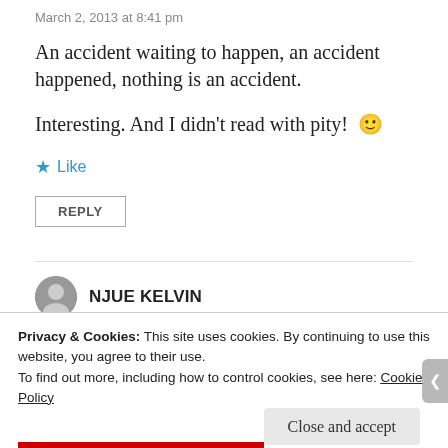March 2, 2013 at 8:41 pm
An accident waiting to happen, an accident happened, nothing is an accident.
Interesting. And I didn’t read with pity! 🙂
★ Like
REPLY
NJUE KELVIN
Privacy & Cookies: This site uses cookies. By continuing to use this website, you agree to their use.
To find out more, including how to control cookies, see here: Cookie Policy
Close and accept